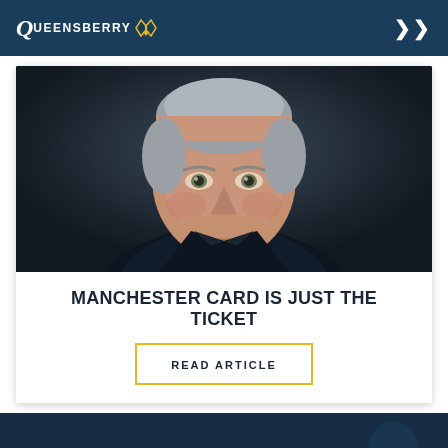Queensberry
[Figure (photo): Portrait photograph of an older man in a dark suit and striped shirt against a dark background]
MANCHESTER CARD IS JUST THE TICKET
READ ARTICLE
LATEST NEWS